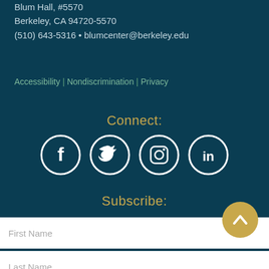Blum Hall, #5570
Berkeley, CA 94720-5570
(510) 643-5316 • blumcenter@berkeley.edu
Accessibility | Nondiscrimination | Privacy
Connect:
[Figure (illustration): Four social media icons in white circles: Facebook, Twitter, Instagram, LinkedIn]
Subscribe:
First Name
Last Name
Email address